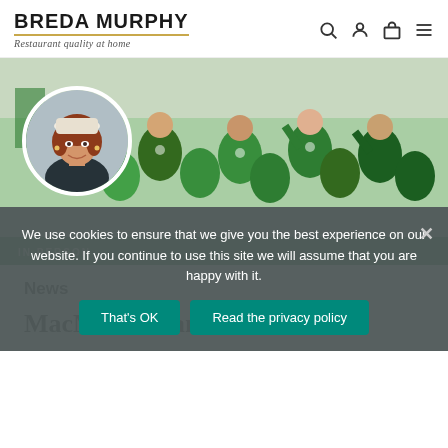BREDA MURPHY — Restaurant quality at home
[Figure (photo): Group photo of people wearing green Macmillan Cancer Support t-shirts, with a circular portrait of a woman (Breda Murphy) overlaid on the left side. A green banner runs along the bottom of the image.]
News
MacMillan Cancer
We use cookies to ensure that we give you the best experience on our website. If you continue to use this site we will assume that you are happy with it.
That's OK | Read the privacy policy